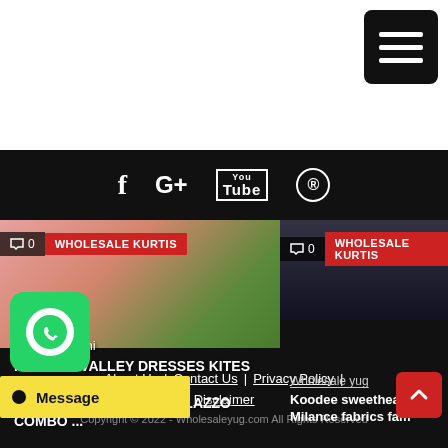[Figure (screenshot): Hamburger menu button - black square with three white horizontal lines]
[Figure (screenshot): Social media icons navigation bar on black background: Facebook (f), Google+ (G+), YouTube (You/Tube box), Pinterest (circle with P)]
[Figure (photo): Left article card: Pink dress kurti fashion photo with woman in garden. Tag: 0 comments, WHOLESALE KURTIS. Author: Jayesh Butani. Title: FASHION VALLEY DRESSES KITES VOL 1 PURE RAYON KURTIS PALAZZO COMBO ...]
[Figure (photo): Right article card: Dark/black image. Tag: 0 comments, WHOLESALE KURTIS. Author: Wholesale yug. Title: Koodee sweetheart Milance fabrics fam (truncated)]
About Us  |  Contact Us  |  Privacy Policy  |  Disclaimer
Copyright © 2022 - Wholesaleyug.com All Rights Reserved
Message